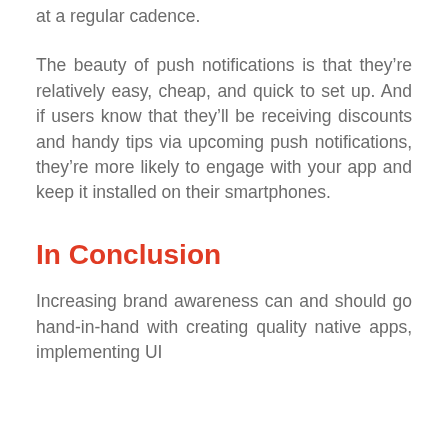at a regular cadence.
The beauty of push notifications is that they’re relatively easy, cheap, and quick to set up. And if users know that they’ll be receiving discounts and handy tips via upcoming push notifications, they’re more likely to engage with your app and keep it installed on their smartphones.
In Conclusion
Increasing brand awareness can and should go hand-in-hand with creating quality native apps, implementing UI